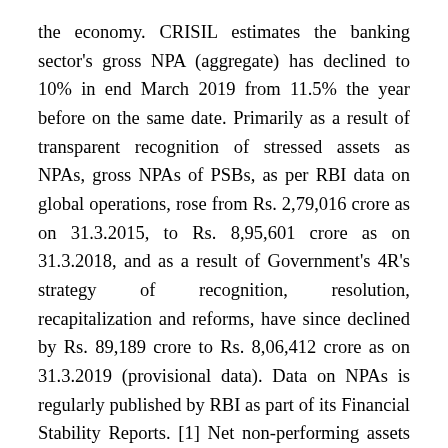the economy. CRISIL estimates the banking sector's gross NPA (aggregate) has declined to 10% in end March 2019 from 11.5% the year before on the same date. Primarily as a result of transparent recognition of stressed assets as NPAs, gross NPAs of PSBs, as per RBI data on global operations, rose from Rs. 2,79,016 crore as on 31.3.2015, to Rs. 8,95,601 crore as on 31.3.2018, and as a result of Government's 4R's strategy of recognition, resolution, recapitalization and reforms, have since declined by Rs. 89,189 crore to Rs. 8,06,412 crore as on 31.3.2019 (provisional data). Data on NPAs is regularly published by RBI as part of its Financial Stability Reports. [1] Net non-performing assets (NPAs) of all commercial banks reduced to 3.7